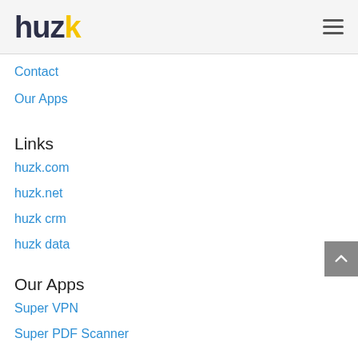[Figure (logo): Huzk logo with dark navy text 'huz' and yellow 'k', hamburger menu icon on right]
Contact
Our Apps
Links
huzk.com
huzk.net
huzk crm
huzk data
Our Apps
Super VPN
Super PDF Scanner